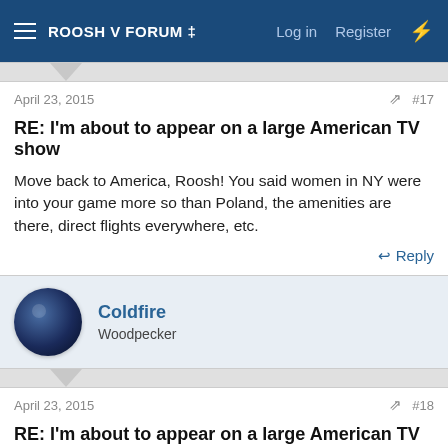ROOSH V FORUM ‡   Log in   Register
April 23, 2015   #17
RE: I'm about to appear on a large American TV show
Move back to America, Roosh! You said women in NY were into your game more so than Poland, the amenities are there, direct flights everywhere, etc.
Reply
Coldfire
Woodpecker
April 23, 2015   #18
RE: I'm about to appear on a large American TV show
What show is it I'll make sure to tune in.